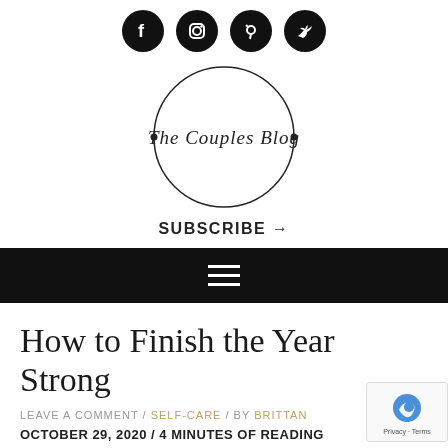[Figure (logo): Social media icons: Facebook, Instagram, Pinterest, Twitter in black circles, and The Couples Blog circular logo below]
SUBSCRIBE →
[Figure (other): Black navigation bar with hamburger menu icon (three white lines)]
How to Finish the Year Strong
LEAVE A COMMENT / SELF-CARE / BY BRITTAN
OCTOBER 29, 2020 / 4 MINUTES OF READING